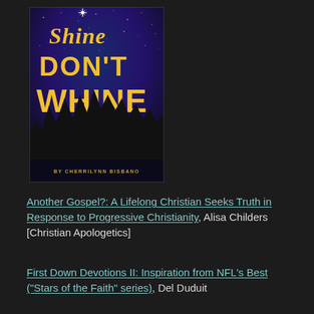[Figure (illustration): Book cover for 'Shine Don't Whine' by Cherrilynn Bisbano. Dark blue/purple starry night sky background with silhouetted treeline. Title text in large gold/yellow letters: 'Shine DON'T WHINE'. Author name at the bottom in small gold text: 'BY CHERRILYNN BISBANO'. A bright star shines above the title word 'Shine'.]
Another Gospel?: A Lifelong Christian Seeks Truth in Response to Progressive Christianity, Alisa Childers [Christian Apologetics]
First Down Devotions II: Inspiration from NFL’s Best (“Stars of the Faith” series), Del Duduit